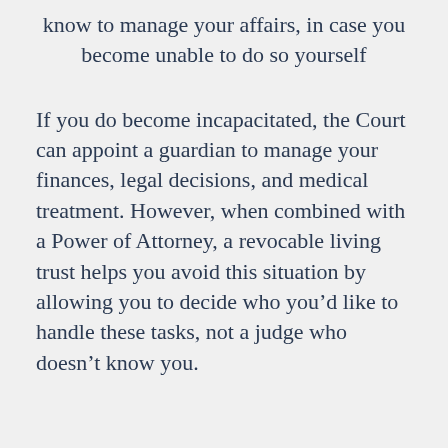know to manage your affairs, in case you become unable to do so yourself
If you do become incapacitated, the Court can appoint a guardian to manage your finances, legal decisions, and medical treatment. However, when combined with a Power of Attorney, a revocable living trust helps you avoid this situation by allowing you to decide who you’d like to handle these tasks, not a judge who doesn’t know you.